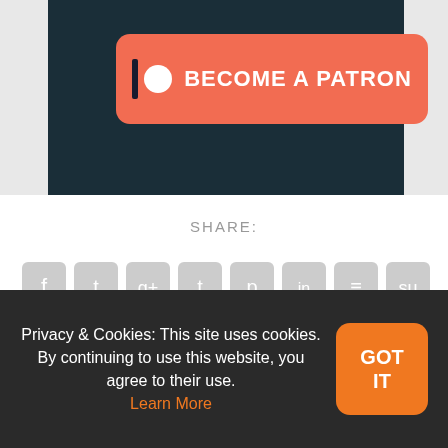[Figure (screenshot): Patreon 'Become a Patron' button on dark teal background]
SHARE:
[Figure (infographic): Row of social share icon buttons: Facebook, Twitter, Google+, Tumblr, Pinterest, LinkedIn, Buffer, StumbleUpon, Email]
Privacy & Cookies: This site uses cookies. By continuing to use this website, you agree to their use. Learn More
GOT IT